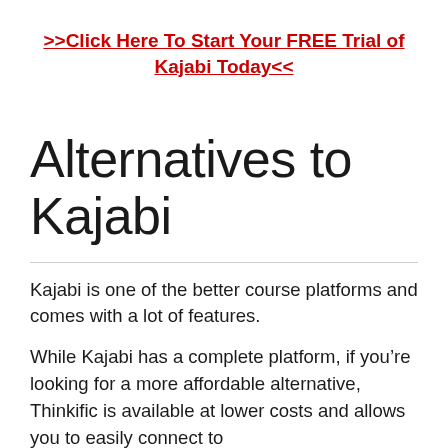>>Click Here To Start Your FREE Trial of Kajabi Today<<
Alternatives to Kajabi
Kajabi is one of the better course platforms and comes with a lot of features.
While Kajabi has a complete platform, if you’re looking for a more affordable alternative, Thinkific is available at lower costs and allows you to easily connect to